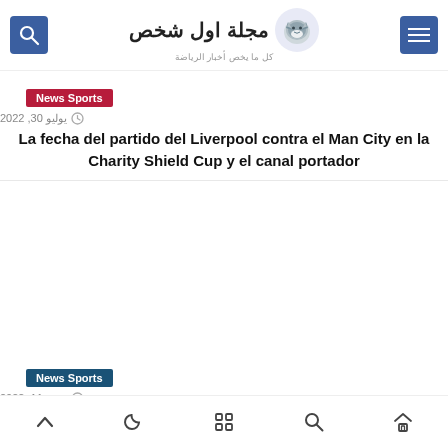مجلة اول شخص - كل ما يخص أخبار الرياضة
News Sports
يوليو 30, 2022
La fecha del partido del Liverpool contra el Man City en la Charity Shield Cup y el canal portador
News Sports
يونيو 11, 2022
The date of the next match between Egypt and South Korea
Navigation icons: up, moon, grid, search, home